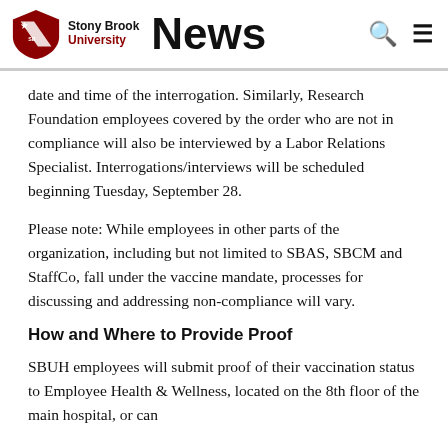Stony Brook University News
date and time of the interrogation. Similarly, Research Foundation employees covered by the order who are not in compliance will also be interviewed by a Labor Relations Specialist. Interrogations/interviews will be scheduled beginning Tuesday, September 28.
Please note: While employees in other parts of the organization, including but not limited to SBAS, SBCM and StaffCo, fall under the vaccine mandate, processes for discussing and addressing non-compliance will vary.
How and Where to Provide Proof
SBUH employees will submit proof of their vaccination status to Employee Health & Wellness, located on the 8th floor of the main hospital, or can